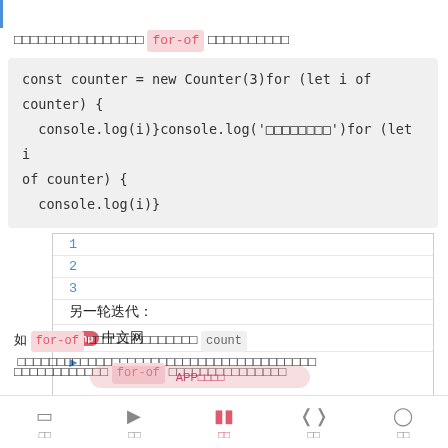（满足迭代协议的对象）用 for-of 来遍历计数器
const counter = new Counter(3)for (let i of counter) {
  console.log(i)}console.log('另一轮迭代：')for (let i of counter) {
  console.log(i)}
[Figure (screenshot): Output box showing: 1, 2, 3, 另一轮迭代：, > (arrow prompt)]
如 for-of 循环所示，用完 count 次迭代后，再一次使用相同的计数器，又可以从头迭代了
这说明计数器实现了 for-of 可重用的迭代器